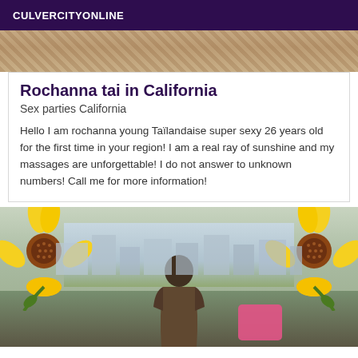CULVERCITYONLINE
[Figure (photo): Partial photo at top of card, showing textured background]
Rochanna tai in California
Sex parties California
Hello I am rochanna young Taïlandaise super sexy 26 years old for the first time in your region! I am a real ray of sunshine and my massages are unforgettable! I do not answer to unknown numbers! Call me for more information!
[Figure (photo): Photo showing sunflowers on left and right sides, a person sitting on a balcony or rooftop with city buildings in background, and a pink element in the foreground]